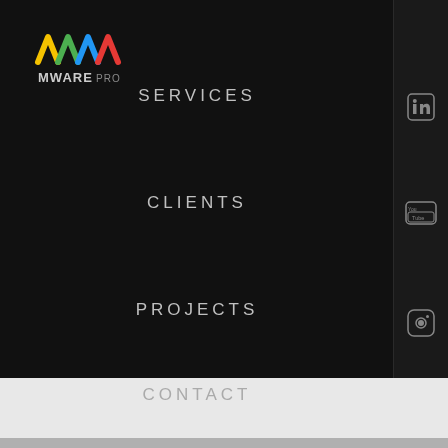[Figure (logo): MWARE PRO logo with colorful M-shaped wave mark and text MWARE PRO]
SERVICES
CLIENTS
PROJECTS
CONTACT
[Figure (other): LinkedIn icon in sidebar]
[Figure (other): YouTube icon in sidebar]
[Figure (other): Instagram icon in sidebar]